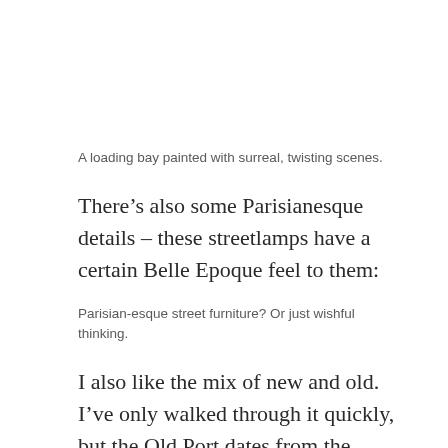A loading bay painted with surreal, twisting scenes.
There’s also some Parisianesque details – these streetlamps have a certain Belle Epoque feel to them:
Parisian-esque street furniture? Or just wishful thinking.
I also like the mix of new and old. I’ve only walked through it quickly, but the Old Port dates from the 1700s and has a lot of massive limestone edifices with Greek-temple style architectural features, plinths, columns, and so on: